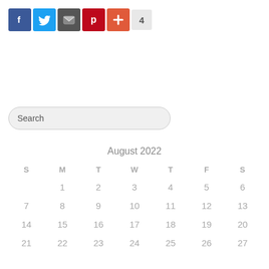[Figure (screenshot): Social share buttons: Facebook (blue), Twitter (light blue), Email (dark gray), Pinterest (red), Plus/share (orange-red), and a count badge showing 4]
[Figure (screenshot): Search input field with placeholder text 'Search', rounded rectangle style with light gray background]
| S | M | T | W | T | F | S |
| --- | --- | --- | --- | --- | --- | --- |
|  | 1 | 2 | 3 | 4 | 5 | 6 |
| 7 | 8 | 9 | 10 | 11 | 12 | 13 |
| 14 | 15 | 16 | 17 | 18 | 19 | 20 |
| 21 | 22 | 23 | 24 | 25 | 26 | 27 |